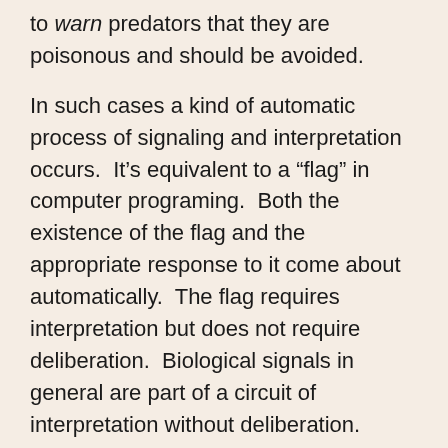to warn predators that they are poisonous and should be avoided.
In such cases a kind of automatic process of signaling and interpretation occurs.  It’s equivalent to a “flag” in computer programing.  Both the existence of the flag and the appropriate response to it come about automatically.  The flag requires interpretation but does not require deliberation.  Biological signals in general are part of a circuit of interpretation without deliberation.  They’re game theory automatized.  The basic idea of evolutionary game theory is that dominant strategies are selected automatically, because they are the ones that are successful, and success is an automatic selector.  Signals are